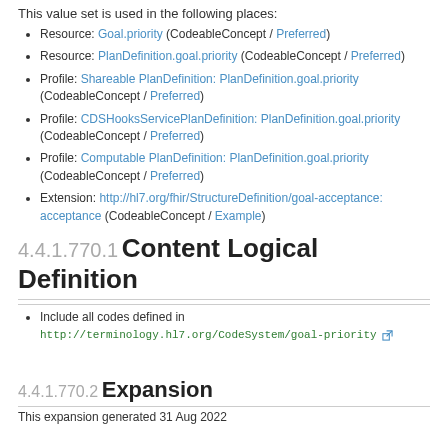This value set is used in the following places:
Resource: Goal.priority (CodeableConcept / Preferred)
Resource: PlanDefinition.goal.priority (CodeableConcept / Preferred)
Profile: Shareable PlanDefinition: PlanDefinition.goal.priority (CodeableConcept / Preferred)
Profile: CDSHooksServicePlanDefinition: PlanDefinition.goal.priority (CodeableConcept / Preferred)
Profile: Computable PlanDefinition: PlanDefinition.goal.priority (CodeableConcept / Preferred)
Extension: http://hl7.org/fhir/StructureDefinition/goal-acceptance: acceptance (CodeableConcept / Example)
4.4.1.770.1 Content Logical Definition
Include all codes defined in http://terminology.hl7.org/CodeSystem/goal-priority
4.4.1.770.2 Expansion
This expansion generated 31 Aug 2022